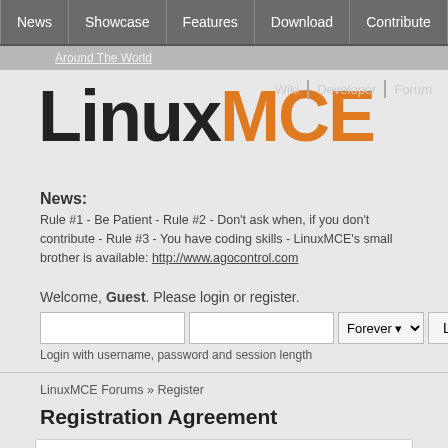News | Showcase | Features | Download | Contribute | Support
Around The World
Wiki | Developer | Forum
LinuxMCE
News:
Rule #1 - Be Patient - Rule #2 - Don't ask when, if you don't contribute - Rule #3 - You have coding skills - LinuxMCE's small brother is available: http://www.agocontrol.com
Welcome, Guest. Please login or register.
Login with username, password and session length
LinuxMCE Forums » Register
Registration Agreement